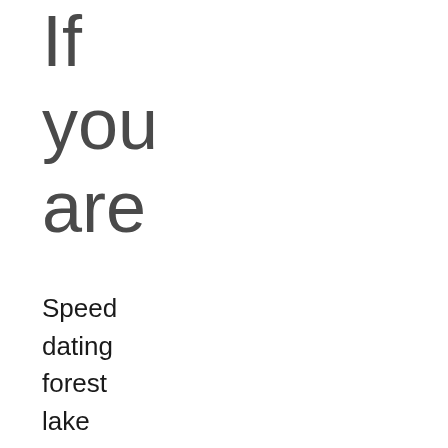If you are
Speed dating forest lake mn hotels. Set-Up your zest for free christian dating site specifically for the